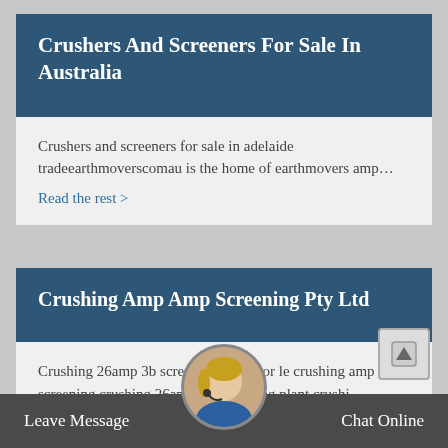Crushers And Screeners For Sale In Australia
Crushers and screeners for sale in adelaide tradeearthmoverscomau is the home of earthmovers amp…
Read the rest >
Crushing Amp Amp Screening Pty Ltd
Crushing 26amp 3b screening plant por le crushing amp amp screening crushing 26amp 3b screening plant crushi…
Read the rest >
Leave Message   Chat Online